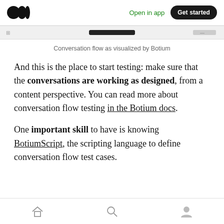Open in app  Get started
[Figure (screenshot): Partial view of a conversation flow visualization in Botium]
Conversation flow as visualized by Botium
And this is the place to start testing: make sure that the conversations are working as designed, from a content perspective. You can read more about conversation flow testing in the Botium docs.
One important skill to have is knowing BotiumScript, the scripting language to define conversation flow test cases.
[home icon] [search icon] [profile icon]